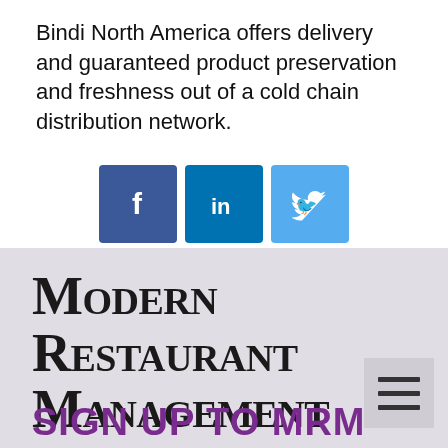Bindi North America offers delivery and guaranteed product preservation and freshness out of a cold chain distribution network.
[Figure (infographic): Social sharing icons: Facebook (dark blue), LinkedIn (medium blue), Twitter (light blue)]
Modern Restaurant Management
[Figure (infographic): Social media icons: Facebook (dark blue), Twitter (light blue), LinkedIn (teal), YouTube (red)]
[Figure (other): Hamburger menu icon button]
SIGN UP TO MRM